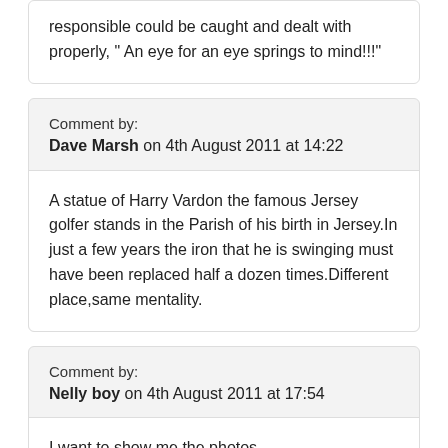responsible could be caught and dealt with properly, " An eye for an eye springs to mind!!!"
Comment by:
Dave Marsh on 4th August 2011 at 14:22
A statue of Harry Vardon the famous Jersey golfer stands in the Parish of his birth in Jersey.In just a few years the iron that he is swinging must have been replaced half a dozen times.Different place,same mentality.
Comment by:
Nelly boy on 4th August 2011 at 17:54
I want to show me the photos